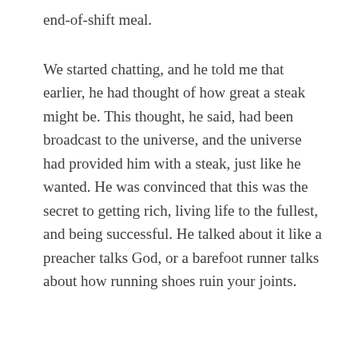end-of-shift meal.
We started chatting, and he told me that earlier, he had thought of how great a steak might be. This thought, he said, had been broadcast to the universe, and the universe had provided him with a steak, just like he wanted. He was convinced that this was the secret to getting rich, living life to the fullest, and being successful. He talked about it like a preacher talks God, or a barefoot runner talks about how running shoes ruin your joints.